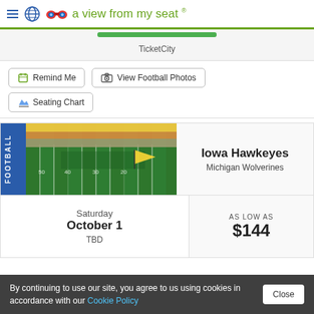a view from my seat ®
TicketCity
Remind Me
View Football Photos
Seating Chart
[Figure (photo): Football field aerial view with Iowa Hawkeyes game, crowd visible in stands]
Iowa Hawkeyes
Michigan Wolverines
Saturday
October 1
TBD
AS LOW AS
$144
By continuing to use our site, you agree to us using cookies in accordance with our Cookie Policy  Close